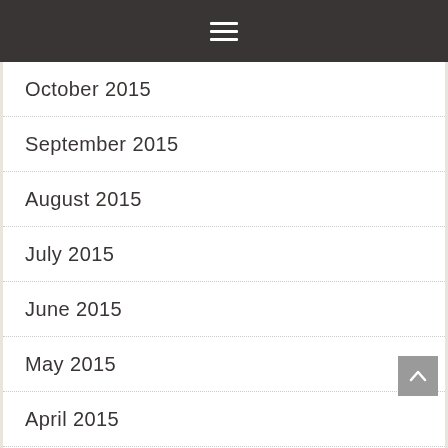≡
October 2015
September 2015
August 2015
July 2015
June 2015
May 2015
April 2015
March 2015
February 2015
January 2015